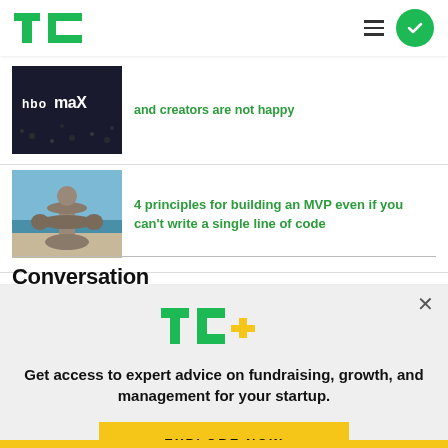TechCrunch
HBO Max is removing 36 titles and creators are not happy
[Figure (photo): HBO Max logo displayed on a screen with crowd in background]
4 principles for building an MVP even if you can't write a single line of code
[Figure (photo): Balanced stones on a beach with ocean in background]
Conversation
[Figure (infographic): TechCrunch TC+ subscription modal overlay with text: Get access to expert advice on fundraising, growth, and management for your startup. EXPLORE NOW button.]
Get access to expert advice on fundraising, growth, and management for your startup.
EXPLORE NOW